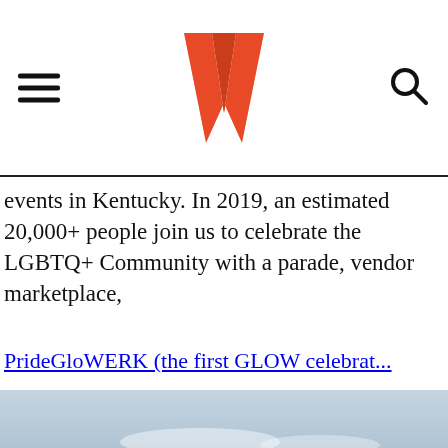[Hamburger menu icon] [W logo] [Search icon]
events in Kentucky. In 2019, an estimated 20,000+ people join us to celebrate the LGBTQ+ Community with a parade, vendor marketplace,
PrideGloWERK (the first GLOW celebrat...
[Figure (photo): Sky photo with light blue gradient, partially cloudy]